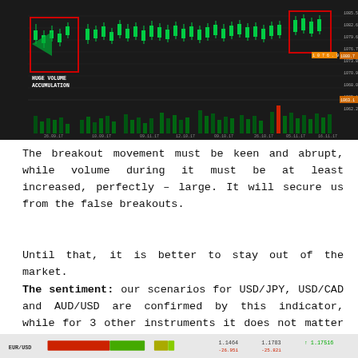[Figure (screenshot): Dark-background financial candlestick chart with volume bars, showing EUR/USD or similar currency pair with red box annotation marking 'HUGE VOLUME ACCUMULATION' and red box at right side near price highs. Green candlesticks and volume bars on dark/black background. X-axis shows dates from approximately 26.09.17 to 16.11.17. Y-axis shows price levels around 1060-1100. A red candlestick volume bar visible near right side.]
The breakout movement must be keen and abrupt, while volume during it must be at least increased, perfectly – large. It will secure us from the false breakouts.
Until that, it is better to stay out of the market.
The sentiment: our scenarios for USD/JPY, USD/CAD and AUD/USD are confirmed by this indicator, while for 3 other instruments it does not matter as they are in ranges.
[Figure (infographic): Bottom sentiment indicator bar showing EUR/USD label on left, a red-green gradient bar indicator in the middle-left, a small yellow/green bar, and numeric values on the right: 1.1464, 1.1783, and an arrow up 1.17516 with values -26.951 and -25.821 in red below.]